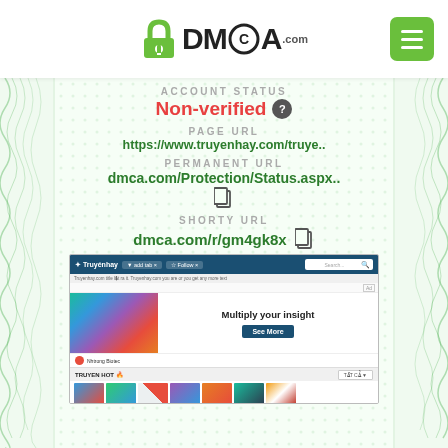[Figure (logo): DMCA.com logo with padlock icon and hamburger menu button]
ACCOUNT STATUS
Non-verified ?
PAGE URL
https://www.truyenhay.com/truye..
PERMANENT URL
dmca.com/Protection/Status.aspx..
SHORTY URL
dmca.com/r/gm4gk8x
[Figure (screenshot): Screenshot of truyenhay.com website showing navigation bar, advertisement banner with 'Multiply your insight / See More', author profile section, and book grid labeled 'TRUYEN HOT']